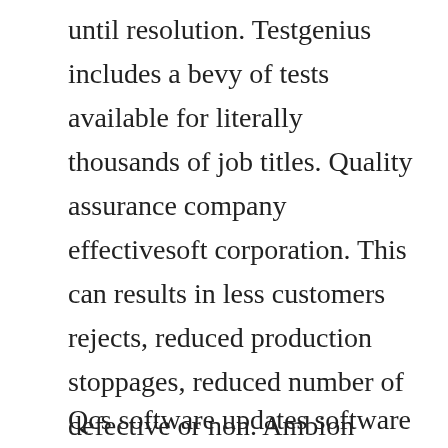until resolution. Testgenius includes a bevy of tests available for literally thousands of job titles. Quality assurance company effectivesoft corporation. This can results in less customers rejects, reduced production stoppages, reduced number of defective or non. Ambion rnasealert qc system is a patentpending technology detects rnase activity in a convenient and sensitive fluorimetric assay that delivers results in real time.
Qcs software updates software number date